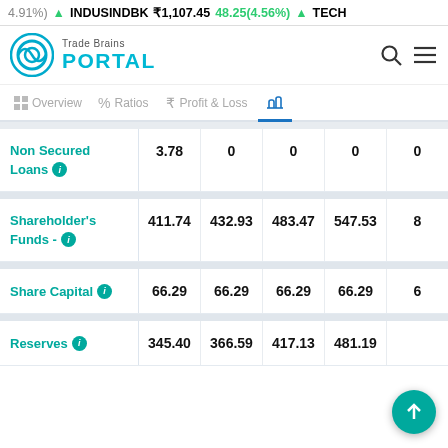4.91%) ▲ INDUSINDBK ₹1,107.45 48.25(4.56%) ▲ TECH
[Figure (logo): Trade Brains Portal logo with teal circular icon and text]
|  |  |  |  |  |  |
| --- | --- | --- | --- | --- | --- |
| Non Secured Loans ⓘ | 3.78 | 0 | 0 | 0 | 0 |
| Shareholder's Funds - ⓘ | 411.74 | 432.93 | 483.47 | 547.53 | 8 |
| Share Capital ⓘ | 66.29 | 66.29 | 66.29 | 66.29 | 6 |
| Reserves ⓘ | 345.40 | 366.59 | 417.13 | 481.19 |  |